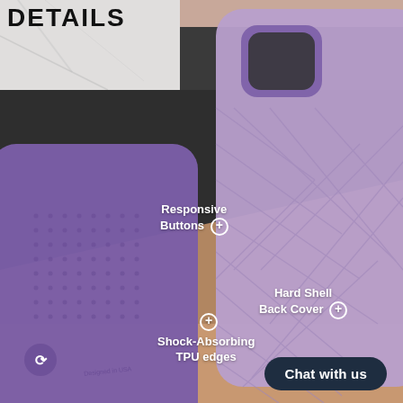DETAILS
[Figure (photo): Product detail photo showing two purple phone cases - one TPU soft case on the left with dotted texture and 'Designed in USA' text, and one diamond-pattern hard shell case on the right, arranged on a dark and peach-colored surface]
Responsive Buttons +
Hard Shell Back Cover +
Shock-Absorbing TPU edges +
Chat with us